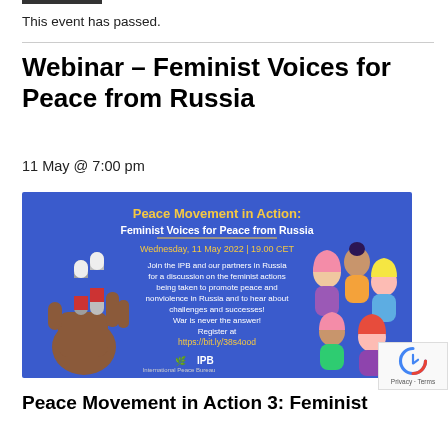This event has passed.
Webinar – Feminist Voices for Peace from Russia
11 May @ 7:00 pm
[Figure (infographic): Event banner for 'Peace Movement in Action: Feminist Voices for Peace from Russia' webinar. Blue background with illustrations of diverse women on the right side and a peace sign hand with Russian flag colors on the left. Text: 'Peace Movement in Action: Feminist Voices for Peace from Russia', 'Wednesday, 11 May 2022 | 19.00 CET', event description, 'War is never the answer! Register at https://bit.ly/38s4ood', IPB logo.]
Peace Movement in Action 3: Feminist